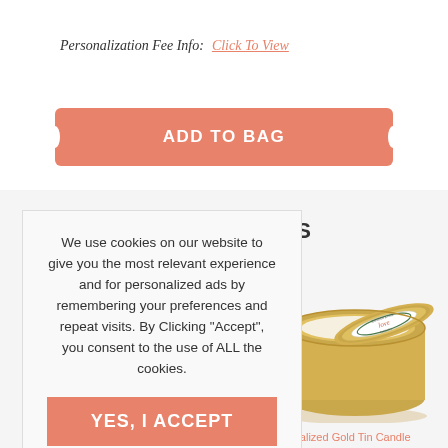Personalization Fee Info: Click To View
ADD TO BAG
ED ITEMS
We use cookies on our website to give you the most relevant experience and for personalized ads by remembering your preferences and repeat visits. By Clicking "Accept", you consent to the use of ALL the cookies.
YES, I ACCEPT
More Info
[Figure (photo): Open gold tin candle with personalized love wreath label on lid]
Personalized Gold Tin Candle Wedding Favor - Love Wreath